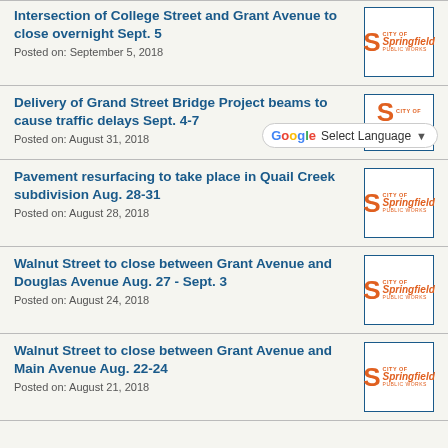Intersection of College Street and Grant Avenue to close overnight Sept. 5
Posted on: September 5, 2018
Delivery of Grand Street Bridge Project beams to cause traffic delays Sept. 4-7
Posted on: August 31, 2018
Pavement resurfacing to take place in Quail Creek subdivision Aug. 28-31
Posted on: August 28, 2018
Walnut Street to close between Grant Avenue and Douglas Avenue Aug. 27 - Sept. 3
Posted on: August 24, 2018
Walnut Street to close between Grant Avenue and Main Avenue Aug. 22-24
Posted on: August 21, 2018